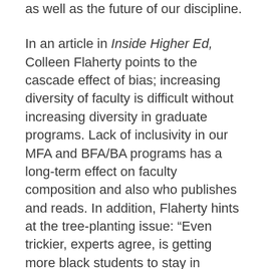as well as the future of our discipline.
In an article in Inside Higher Ed, Colleen Flaherty points to the cascade effect of bias; increasing diversity of faculty is difficult without increasing diversity in graduate programs. Lack of inclusivity in our MFA and BFA/BA programs has a long-term effect on faculty composition and also who publishes and reads. In addition, Flaherty hints at the tree-planting issue: “Even trickier, experts agree, is getting more black students to stay in